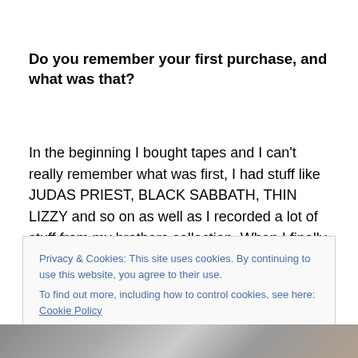Do you remember your first purchase, and what was that?
In the beginning I bought tapes and I can't really remember what was first, I had stuff like JUDAS PRIEST, BLACK SABBATH, THIN LIZZY and so on as well as I recorded a lot of stuff from my brothers collection. When I finally got my record player I got a bunch of records at the
Privacy & Cookies: This site uses cookies. By continuing to use this website, you agree to their use.
To find out more, including how to control cookies, see here: Cookie Policy
[Figure (photo): Partial photo strip at the bottom of the page, showing what appears to be records or album covers]